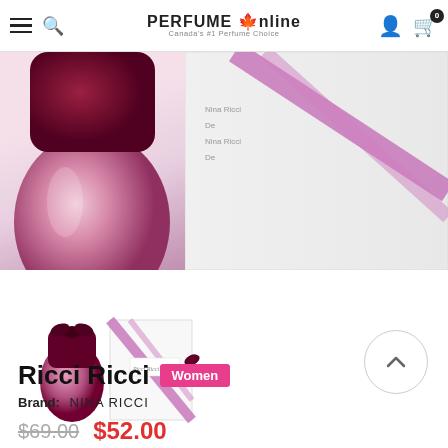PERFUME Online — Canada's #1 Perfume Choice
[Figure (photo): Close-up product photo of Ricci Ricci perfume bottle (pink/burgundy glass bottle) on the left side]
[Figure (photo): Ricci Ricci perfume box with purple/pink ribbon design on white background on the right side]
[Figure (photo): Thumbnail product photo showing Ricci Ricci perfume bottle and box together]
Ricci Ricci  Women
Brand:  NINA RICCI
$69.00  $52.00